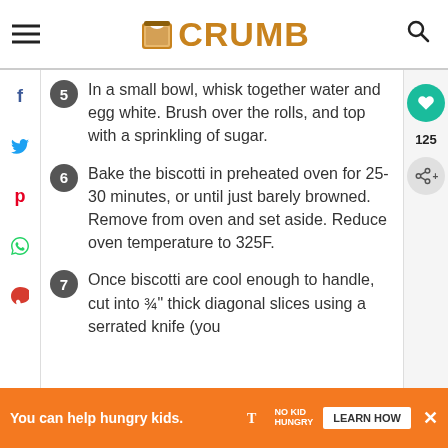CRUMB
5 In a small bowl, whisk together water and egg white. Brush over the rolls, and top with a sprinkling of sugar.
6 Bake the biscotti in preheated oven for 25-30 minutes, or until just barely browned. Remove from oven and set aside. Reduce oven temperature to 325F.
7 Once biscotti are cool enough to handle, cut into ¾" thick diagonal slices using a serrated knife (you should have around 7 slices). A
You can help hungry kids. NO KID HUNGRY LEARN HOW